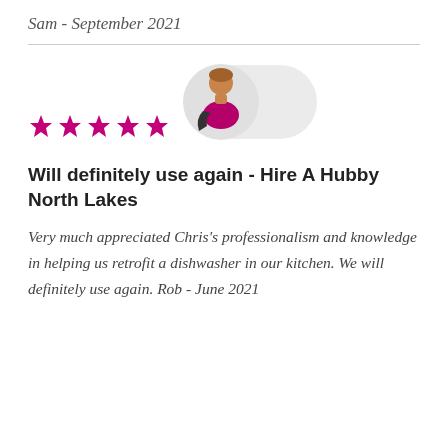Sam - September 2021
[Figure (other): Five pink/magenta star rating icons]
[Figure (photo): Circular avatar of a person wearing a magenta/pink uniform, shown from waist up, within a light grey rounded background]
Will definitely use again - Hire A Hubby North Lakes
Very much appreciated Chris's professionalism and knowledge in helping us retrofit a dishwasher in our kitchen. We will definitely use again. Rob - June 2021